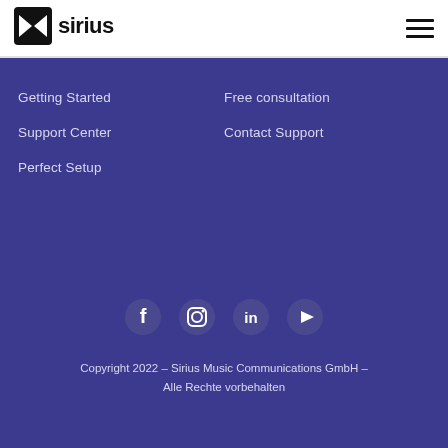[Figure (logo): Sirius logo with stylized infinity/bowtie mark and text 'sirius' in black]
Getting Started
Support Center
Perfect Setup
Free consultation
Contact Support
[Figure (illustration): Social media icons row: Facebook, Instagram, LinkedIn, YouTube in dark purple circles]
Copyright 2022 – Sirius Music Communications GmbH – Alle Rechte vorbehalten